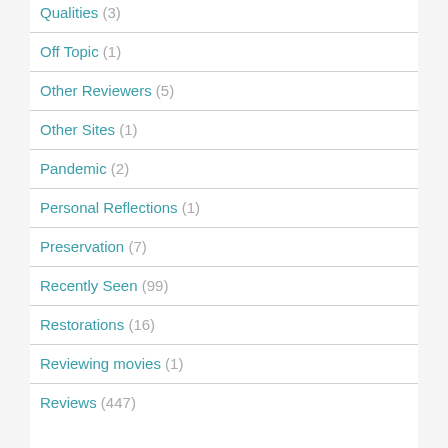Qualities (3)
Off Topic (1)
Other Reviewers (5)
Other Sites (1)
Pandemic (2)
Personal Reflections (1)
Preservation (7)
Recently Seen (99)
Restorations (16)
Reviewing movies (1)
Reviews (447)